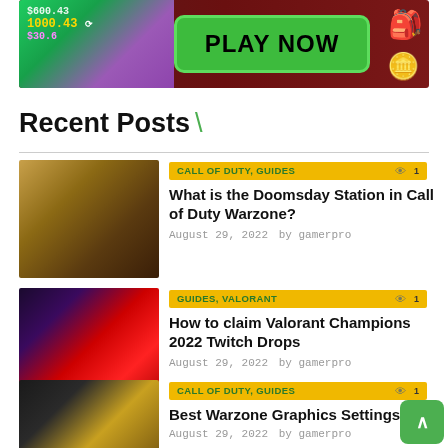[Figure (other): Online casino advertisement banner with PLAY NOW green button and Bitcoin symbols]
Recent Posts \
CALL OF DUTY, GUIDES | What is the Doomsday Station in Call of Duty Warzone? | August 29, 2022 by gamerpro
GUIDES, VALORANT | How to claim Valorant Champions 2022 Twitch Drops | August 29, 2022 by gamerpro
CALL OF DUTY, GUIDES | Best Warzone Graphics Settings | August 29, 2022 by gamerpro
GUIDES, LOST ARK | (partial, cut off)